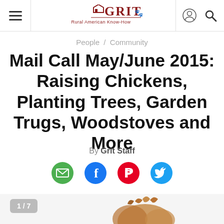GRIT — Rural American Know-How (navigation bar with hamburger menu, logo, account and search icons)
People / Community
Mail Call May/June 2015: Raising Chickens, Planting Trees, Garden Trugs, Woodstoves and More
By Grit Staff
[Figure (infographic): Social sharing icons row: email (green circle), Facebook (blue circle), Pinterest (red circle), Twitter (blue circle)]
[Figure (illustration): Partial illustration of a cartoon character's head (brown hair) at the bottom of the page, with a 1/7 slider badge in the lower left corner]